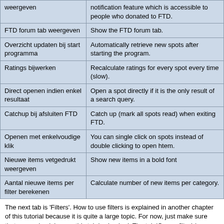| Dutch label | Description |
| --- | --- |
| weergeven | notification feature which is accessible to people who donated to FTD. |
| FTD forum tab weergeven | Show the FTD forum tab. |
| Overzicht updaten bij start programma | Automatically retrieve new spots after starting the program. |
| Ratings bijwerken | Recalculate ratings for every spot every time (slow). |
| Direct openen indien enkel resultaat | Open a spot directly if it is the only result of a search query. |
| Catchup bij afsluiten FTD | Catch up (mark all spots read) when exiting FTD. |
| Openen met enkelvoudige klik | You can single click on spots instead of double clicking to open htem. |
| Nieuwe items vetgedrukt weergeven | Show new items in a bold font |
| Aantal nieuwe items per filter berekenen | Calculate number of new items per category. |
The next tab is 'Filters'. How to use filters is explained in another chapter of this tutorial because it is quite a large topic. For now, just make sure that every check box on this tab is checked. The tab 'Groepsfilter' (group filter) enables us to hide spots of certain groups by unchecking that group in the list. Files posted to unchecked groups will not be shown in FTD.
Now press 'OK' to save the settings and to return to FTD's main screen
Deze website gebruikt cookies. Meer info. Sluit